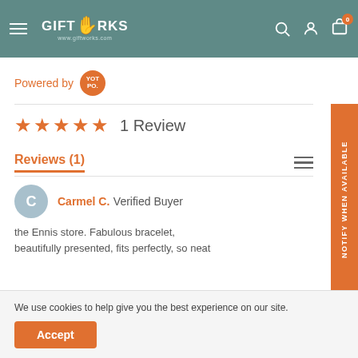[Figure (screenshot): GiftWorks website header with teal background, hamburger menu, GiftWorks logo with hand icon, search, account, and cart icons]
Powered by YOT PO.
★★★★★  1 Review
Reviews (1)
Carmel C. Verified Buyer
the Ennis store. Fabulous bracelet, beautifully presented, fits perfectly, so neat
We use cookies to help give you the best experience on our site.
Accept
NOTIFY WHEN AVAILABLE